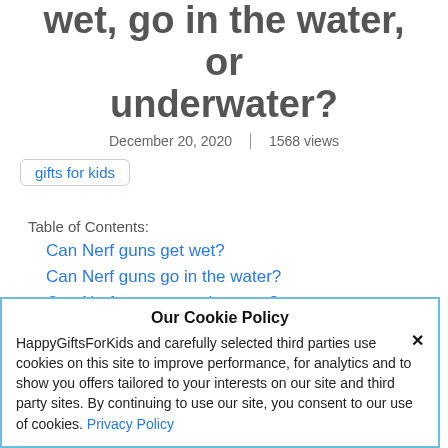wet, go in the water, or underwater?
December 20, 2020 | 1568 views
gifts for kids
Table of Contents:
Can Nerf guns get wet?
Can Nerf guns go in the water?
Can Nerf guns go underwater?
Our Cookie Policy
HappyGiftsForKids and carefully selected third parties use cookies on this site to improve performance, for analytics and to show you offers tailored to your interests on our site and third party sites. By continuing to use our site, you consent to our use of cookies. Privacy Policy